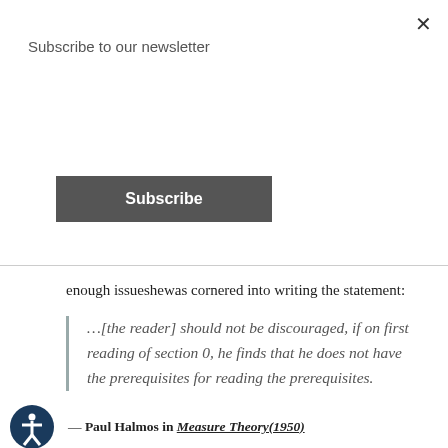Subscribe to our newsletter
Subscribe
enough issueshewas cornered into writing the statement:
...[the reader] should not be discouraged, if on first reading of section 0, he finds that he does not have the prerequisites for reading the prerequisites.
— Paul Halmos in Measure Theory(1950)
This is essentially the mathematician's